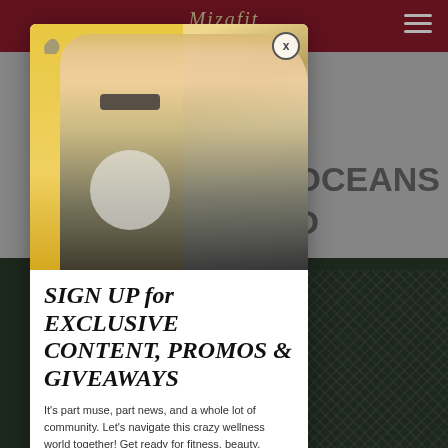[Figure (screenshot): Website screenshot of Mizafit with dark red header, hamburger menu, background images of women in athletic wear, and a modal popup overlay]
SIGN UP for EXCLUSIVE CONTENT, PROMOS & GIVEAWAYS
It's part muse, part news, and a whole lot of community. Let's navigate this crazy wellness world together! Get ready for fitness, beauty, healthy recipes, fashion, travel and tech trends.